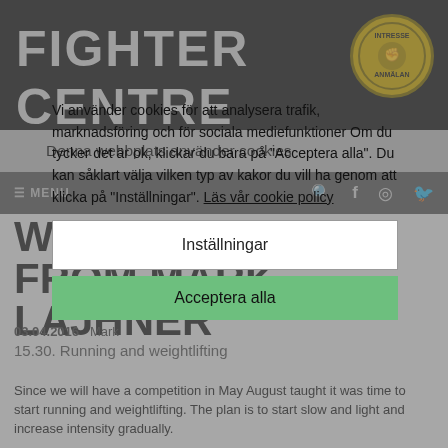FIGHTER CENTRE
Denna webbplats använder cookies
WEEK 3 DIARY FROM MARK LAJHNER
03.04.2016  Mark
15.30. Running and weightlifting
Vi använder cookies för att analysera trafik, marknadsföring och för sociala mediefunktioner Om du tycker det är ok, klickar du bara på "Acceptera alla". Du kan såklart välja vilken typ av kakor du vill ha genom att klicka på "Inställningar". Läs vår cookie policy
Inställningar
Since we will have a competition in May August taught it was time to start running and weightlifting. The plan is to start slow and light and increase intensity gradually.
Acceptera alla